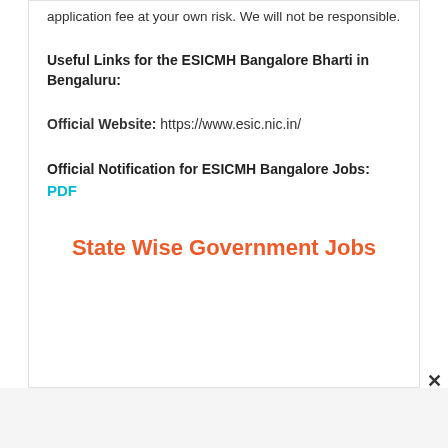application fee at your own risk. We will not be responsible.
Useful Links for the ESICMH Bangalore Bharti in Bengaluru:
Official Website: https://www.esic.nic.in/
Official Notification for ESICMH Bangalore Jobs: PDF
State Wise Government Jobs